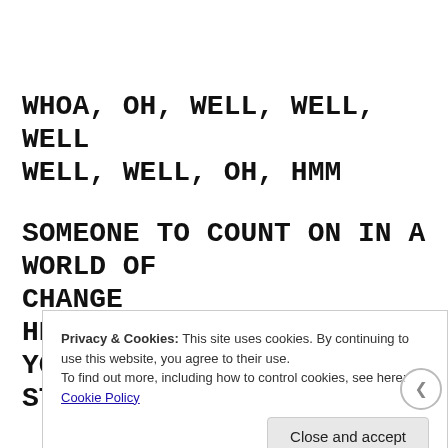WHOA, OH, WELL, WELL, WELL WELL, WELL, OH, HMM
SOMEONE TO COUNT ON IN A WORLD OF CHANGE
HERE I AM, STOP WHERE YOU'RE STANDIN'
Privacy & Cookies: This site uses cookies. By continuing to use this website, you agree to their use.
To find out more, including how to control cookies, see here: Cookie Policy
Close and accept